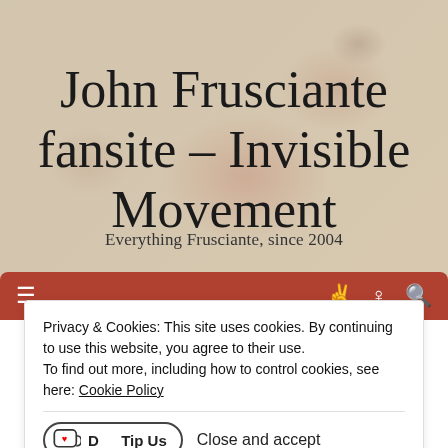[Figure (screenshot): Website header background with aged paper/grunge texture, reddish-brown stains]
John Frusciante fansite – Invisible Movement
Everything Frusciante, since 2004
[Figure (screenshot): Dark red navigation bar with hamburger menu icon and other icons]
Privacy & Cookies: This site uses cookies. By continuing to use this website, you agree to their use.
To find out more, including how to control cookies, see here: Cookie Policy
Tip Us   Close and accept